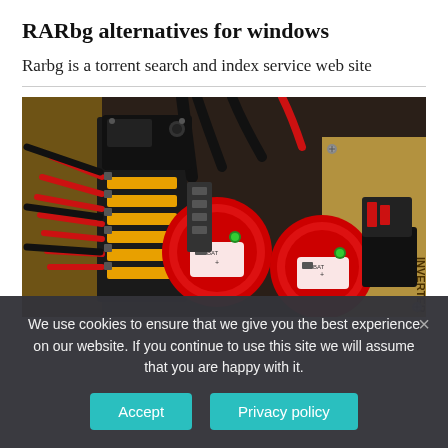RARbg alternatives for windows
Rarbg is a torrent search and index service web site
[Figure (photo): Photograph of an electrical panel or boat/RV wiring setup showing multiple red and black cables, fuse blocks, and two large red battery disconnect switches labeled 'INVERTER' on a wooden board]
We use cookies to ensure that we give you the best experience on our website. If you continue to use this site we will assume that you are happy with it.
Accept
Privacy policy